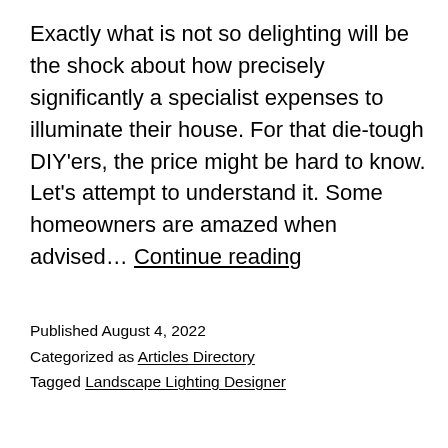Exactly what is not so delighting will be the shock about how precisely significantly a specialist expenses to illuminate their house. For that die-tough DIY'ers, the price might be hard to know. Let's attempt to understand it. Some homeowners are amazed when advised… Continue reading
Published August 4, 2022
Categorized as Articles Directory
Tagged Landscape Lighting Designer